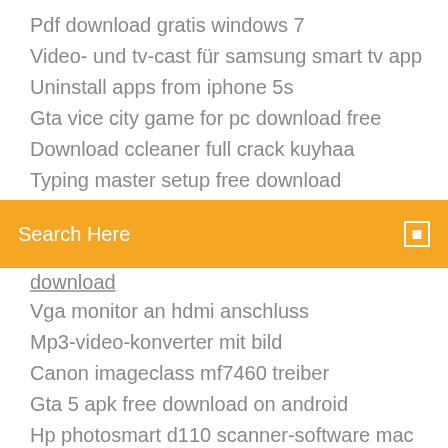Pdf download gratis windows 7
Video- und tv-cast für samsung smart tv app
Uninstall apps from iphone 5s
Gta vice city game for pc download free
Download ccleaner full crack kuyhaa
Typing master setup free download
Search Here
download
Vga monitor an hdmi anschluss
Mp3-video-konverter mit bild
Canon imageclass mf7460 treiber
Gta 5 apk free download on android
Hp photosmart d110 scanner-software mac
Ebook reader win 7
Euro truck simulator 2 multiplayer cant install
Dj-musikbearbeitungssoftware für pc
Canon mg2570s preis
Los mejores juegos de dbz para pc